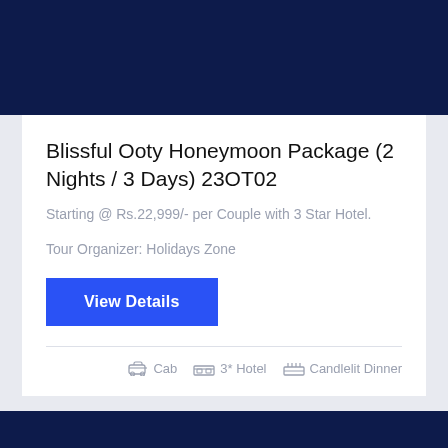[Figure (photo): Dark navy blue banner image at the top of the page]
Blissful Ooty Honeymoon Package (2 Nights / 3 Days) 23OT02
Starting @ Rs.22,999/- per Couple with 3 Star Hotel.
Tour Organizer: Holidays Zone
View Details
Cab  3* Hotel  Candlelit Dinner
[Figure (photo): Dark navy blue banner at the bottom of the page]